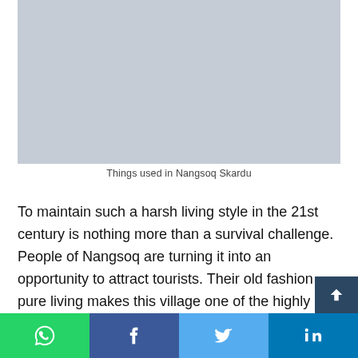[Figure (photo): A placeholder/blank image area with a blue-grey background representing a photo of things used in Nangsoq Skardu]
Things used in Nangsoq Skardu
To maintain such a harsh living style in the 21st century is nothing more than a survival challenge. People of Nangsoq are turning it into an opportunity to attract tourists. Their old fashion pure living makes this village one of the highly likely tourist destinations of Skardu.